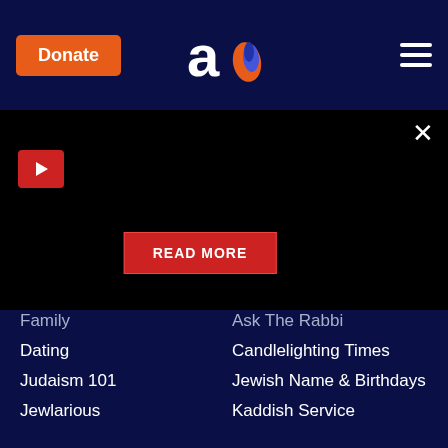Donate | Aish.com logo | Menu
[Figure (screenshot): Black video player area with red play button, close X button, and READ MORE red button overlay]
Family
Ask The Rabbi
Dating
Candlelighting Times
Judaism 101
Jewish Name & Birthdays
Jewlarious
Kaddish Service
Holidays
Aish Audio
Videos
Rabbi Noah
Weekly Torah Portion
Seminars
Shabbat
Mobile App
Next Steps
About
Aish Academy
Contact Aish.com